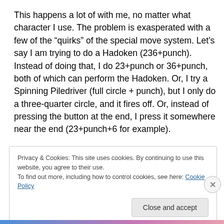This happens a lot of with me, no matter what character I use. The problem is exasperated with a few of the “quirks” of the special move system. Let’s say I am trying to do a Hadoken (236+punch). Instead of doing that, I do 23+punch or 36+punch, both of which can perform the Hadoken. Or, I try a Spinning Piledriver (full circle + punch), but I only do a three-quarter circle, and it fires off. Or, instead of pressing the button at the end, I press it somewhere near the end (23+punch+6 for example).
Privacy & Cookies: This site uses cookies. By continuing to use this website, you agree to their use.
To find out more, including how to control cookies, see here: Cookie Policy